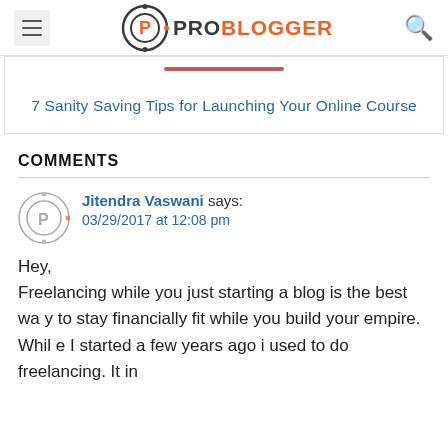ProBlogger
7 Sanity Saving Tips for Launching Your Online Course
COMMENTS
Jitendra Vaswani says: 03/29/2017 at 12:08 pm
Hey,
Freelancing while you just starting a blog is the best way to stay financially fit while you build your empire. While I started a few years ago i used to do freelancing. It in